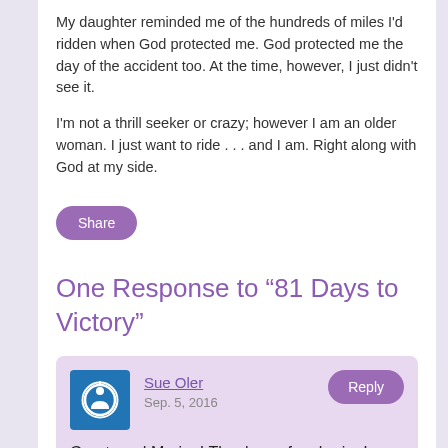My daughter reminded me of the hundreds of miles I'd ridden when God protected me. God protected me the day of the accident too. At the time, however, I just didn't see it.

I'm not a thrill seeker or crazy; however I am an older woman. I just want to ride . . . and I am. Right along with God at my side.
Share
One Response to “81 Days to Victory”
Sue Oler
Sep. 5, 2016
Reply
Great read Marian! Thank you for sharing!
Leave a Comment